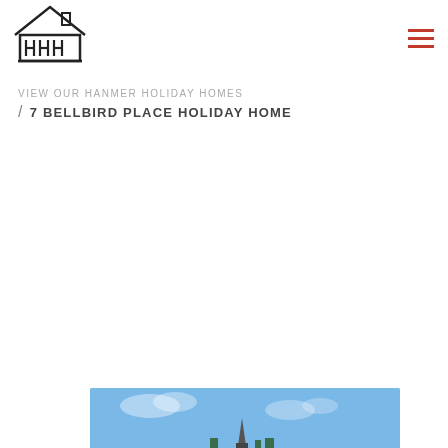[Figure (logo): HHH Hanmer Holiday Homes logo — a house outline with H H H letters inside, above a baseline bar]
[Figure (other): Hamburger menu icon with three horizontal red lines]
VIEW OUR HANMER HOLIDAY HOMES
/ 7 BELLBIRD PLACE HOLIDAY HOME
[Figure (photo): Partial photo showing a bright blue sky with a distant structure/spire visible at the bottom edge]